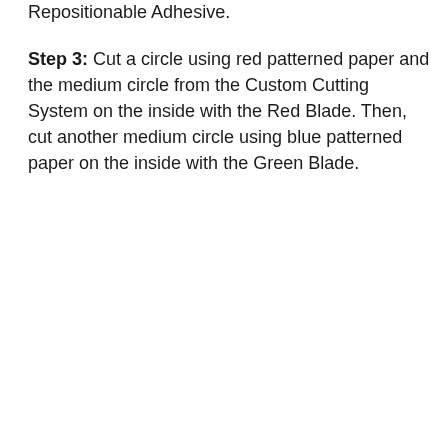Repositionable Adhesive.
Step 3: Cut a circle using red patterned paper and the medium circle from the Custom Cutting System on the inside with the Red Blade. Then, cut another medium circle using blue patterned paper on the inside with the Green Blade.